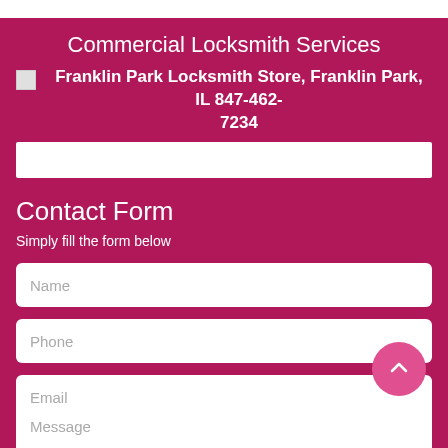Commercial Locksmith Services
Franklin Park Locksmith Store, Franklin Park, IL 847-462-7234
Contact Form
Simply fill the form below
Name
Phone
Email
Message